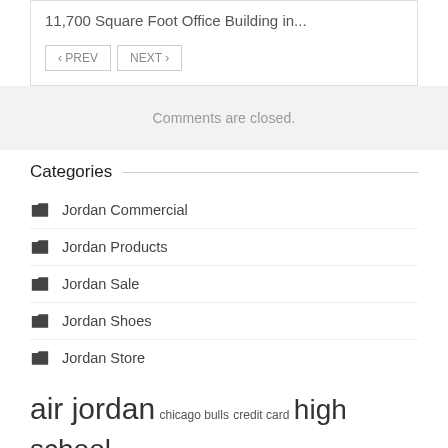11,700 Square Foot Office Building in...
< PREV
NEXT >
Comments are closed.
Categories
Jordan Commercial
Jordan Products
Jordan Sale
Jordan Shoes
Jordan Store
air jordan   chicago bulls   credit card   high school